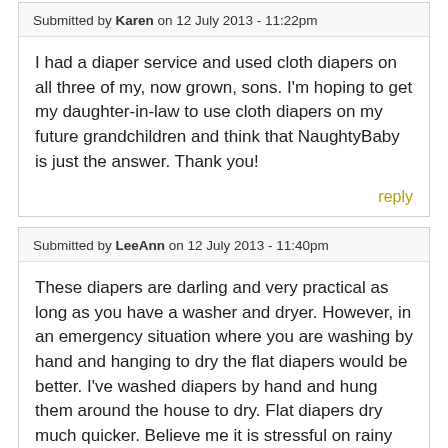Submitted by Karen on 12 July 2013 - 11:22pm
I had a diaper service and used cloth diapers on all three of my, now grown, sons. I'm hoping to get my daughter-in-law to use cloth diapers on my future grandchildren and think that NaughtyBaby is just the answer. Thank you!
reply
Submitted by LeeAnn on 12 July 2013 - 11:40pm
These diapers are darling and very practical as long as you have a washer and dryer. However, in an emergency situation where you are washing by hand and hanging to dry the flat diapers would be better. I've washed diapers by hand and hung them around the house to dry. Flat diapers dry much quicker. Believe me it is stressful on rainy 90º day when you're running out of clean diapers to